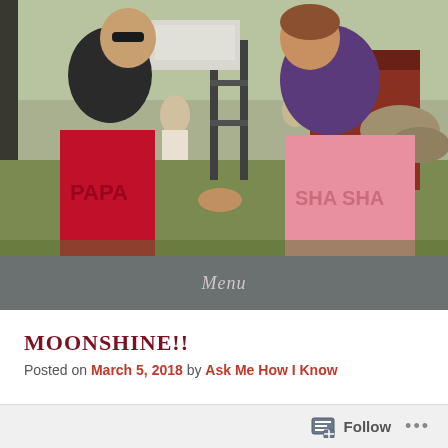[Figure (photo): An elderly couple sitting in personalized director's chairs outdoors at what appears to be an outdoor event or concert. The man on the left wears sunglasses and a dark jacket, seated in a red chair labeled 'PAPA'. The woman on the right wears a purple top, seated in a pink chair labeled 'SHA SHA'. They appear to be holding hands. In the background there is a stage setup, a barn-like red building, trees, and other people.]
Menu
MOONSHINE!!
Posted on March 5, 2018 by Ask Me How I Know
Follow ...